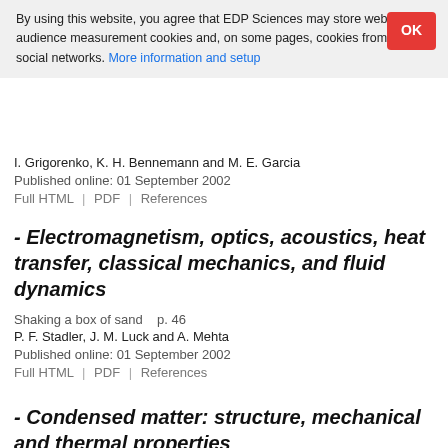By using this website, you agree that EDP Sciences may store web audience measurement cookies and, on some pages, cookies from social networks. More information and setup
I. Grigorenko, K. H. Bennemann and M. E. Garcia
Published online: 01 September 2002
Full HTML | PDF | References
- Electromagnetism, optics, acoustics, heat transfer, classical mechanics, and fluid dynamics
Shaking a box of sand   p. 46
P. F. Stadler, J. M. Luck and A. Mehta
Published online: 01 September 2002
Full HTML | PDF | References
- Condensed matter: structure, mechanical and thermal properties